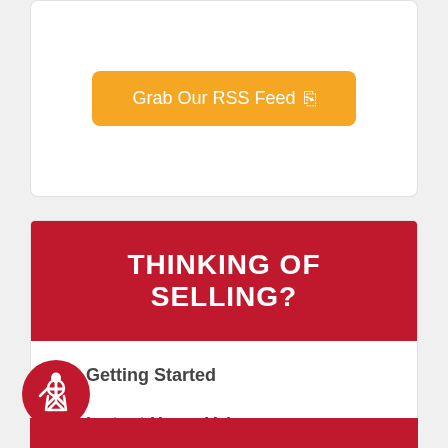[Figure (other): Orange rounded button labeled 'Grab Our RSS Feed' with RSS icon]
THINKING OF SELLING?
Getting Started
Instant Home Value
Guaranteed Sale
Market Trends
[Figure (logo): Accessibility wheelchair icon in a red circle]